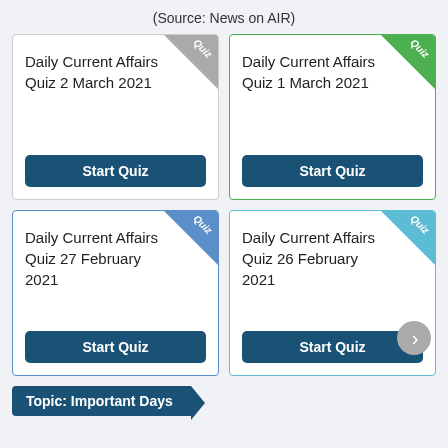(Source: News on AIR)
[Figure (screenshot): Quiz card: Daily Current Affairs Quiz 2 March 2021 with gray corner badge and Start Quiz button]
[Figure (screenshot): Quiz card: Daily Current Affairs Quiz 1 March 2021 with green corner badge and Start Quiz button]
[Figure (screenshot): Quiz card: Daily Current Affairs Quiz 27 February 2021 with blue corner badge and Start Quiz button]
[Figure (screenshot): Quiz card: Daily Current Affairs Quiz 26 February 2021 with teal corner badge and Start Quiz button]
Topic: Important Days